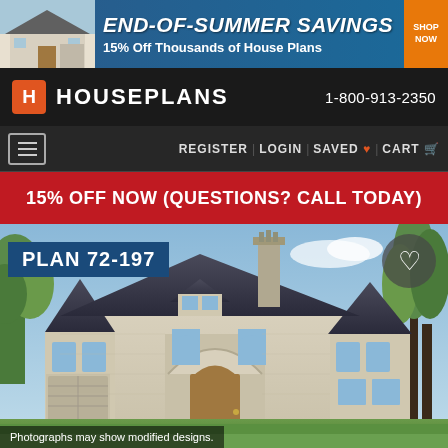[Figure (screenshot): Banner advertisement: END-OF-SUMMER SAVINGS 15% Off Thousands of House Plans, with house image and SHOP NOW button]
HOUSEPLANS  1-800-913-2350
REGISTER  LOGIN  SAVED ♥  CART
15% OFF NOW (QUESTIONS? CALL TODAY)
PLAN 72-197
[Figure (photo): Large French country / European style two-story stone house with multiple steep slate roofs, arched entry, wide lawn, surrounded by trees]
Photographs may show modified designs.